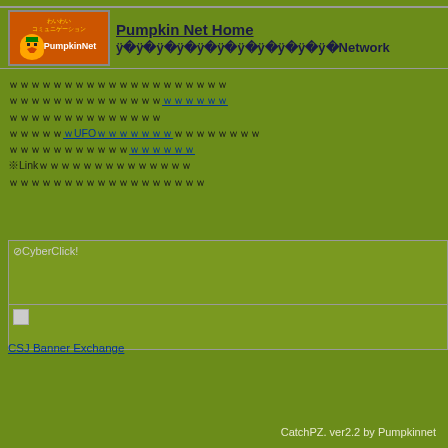Pumpkin Net Home ｗｗｗｗｗｗｗｗｗｗｗNetwork
ｗｗｗｗｗｗｗｗｗｗｗｗｗｗｗｗｗｗｗｗ
ｗｗｗｗｗｗｗｗｗｗｗｗｗｗ[link]
ｗｗｗｗｗｗｗｗｗｗｗｗｗｗ
ｗｗｗｗｗ[UFOｗｗｗｗｗｗｗ]ｗｗｗｗｗｗｗｗ
ｗｗｗｗｗｗｗｗｗｗｗ[link]
※Linkｗｗｗｗｗｗｗｗｗｗｗｗｗｗ
ｗｗｗｗｗｗｗｗｗｗｗｗｗｗｗｗｗｗ
[Figure (screenshot): CyberClick! banner image placeholder]
[Figure (screenshot): Small broken image placeholder]
CSJ Banner Exchange
CatchPZ. ver2.2 by Pumpkinnet